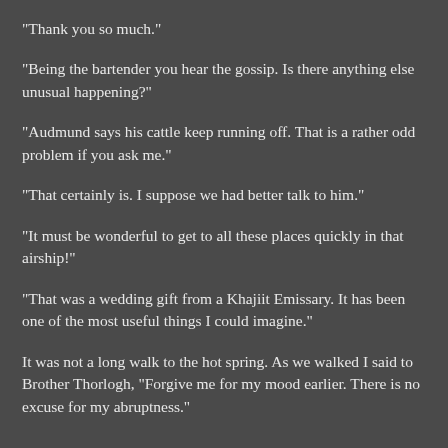“Thank you so much.”
“Being the bartender you hear the gossip. Is there anything else unusual happening?”
“Audmund says his cattle keep running off. That is a rather odd problem if you ask me.”
“That certainly is. I suppose we had better talk to him.”
“It must be wonderful to get to all these places quickly in that airship!”
“That was a wedding gift from a Khajiit Emissary. It has been one of the most useful things I could imagine.”
It was not a long walk to the hot spring. As we walked I said to Brother Thorlogh, “Forgive me for my mood earlier. There is no excuse for my abruptness.”